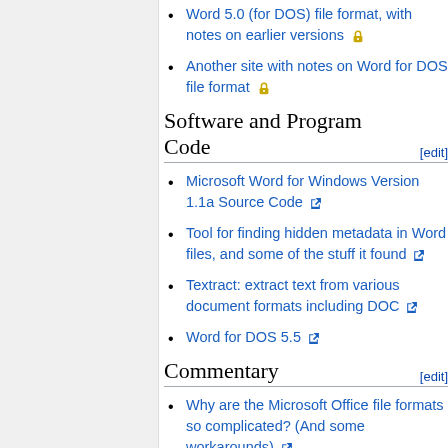Word 5.0 (for DOS) file format, with notes on earlier versions 🔒
Another site with notes on Word for DOS file format 🔒
Software and Program Code [edit]
Microsoft Word for Windows Version 1.1a Source Code 🔗
Tool for finding hidden metadata in Word files, and some of the stuff it found 🔗
Textract: extract text from various document formats including DOC 🔗
Word for DOS 5.5 🔗
Commentary [edit]
Why are the Microsoft Office file formats so complicated? (And some workarounds) 🔗
Why Microsoft Word must Die 🔗
LibreOffice import filter for legacy Mac file-formats 🔗